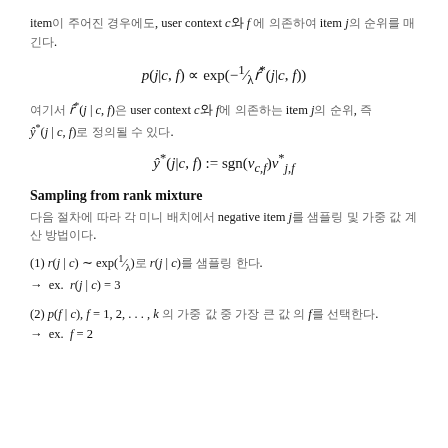item이 주어진 경우에도, user context c와 f 에 의존하여 item j의 순위를 매긴다.
여기서 r̂*(j | c, f)은 user context c와 f에 의존하는 item j의 순위, 즉 ŷ*(j | c, f)로 정의될 수 있다.
Sampling from rank mixture
다음 절차에 따라 각 미니 배치에서 negative item j를 샘플링 및 가중 값 계산 방법이다.
(1) r(j | c) ~ exp(1/λ)로 r(j | c)를 샘플링 한다.
→  ex.  r(j | c) = 3
(2) p(f | c), f = 1, 2, . . . , k 의 가중 값 중 가장 큰 값 의 f를 선택한다.
→  ex.  f = 2